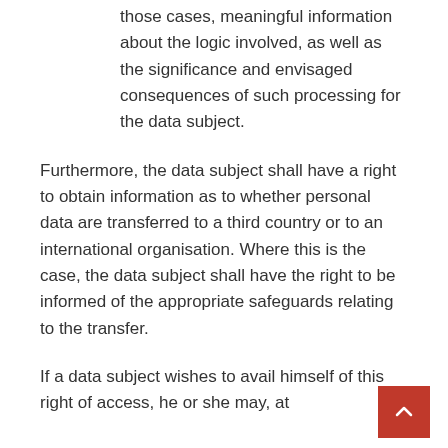those cases, meaningful information about the logic involved, as well as the significance and envisaged consequences of such processing for the data subject.
Furthermore, the data subject shall have a right to obtain information as to whether personal data are transferred to a third country or to an international organisation. Where this is the case, the data subject shall have the right to be informed of the appropriate safeguards relating to the transfer.
If a data subject wishes to avail himself of this right of access, he or she may, at